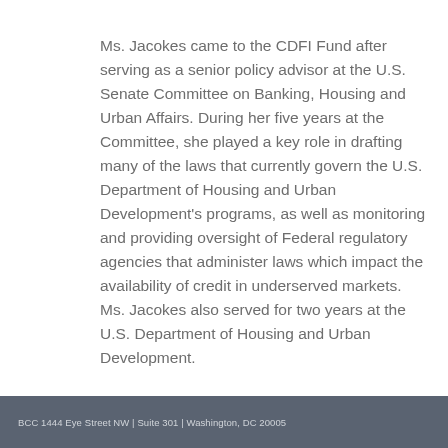Ms. Jacokes came to the CDFI Fund after serving as a senior policy advisor at the U.S. Senate Committee on Banking, Housing and Urban Affairs. During her five years at the Committee, she played a key role in drafting many of the laws that currently govern the U.S. Department of Housing and Urban Development's programs, as well as monitoring and providing oversight of Federal regulatory agencies that administer laws which impact the availability of credit in underserved markets. Ms. Jacokes also served for two years at the U.S. Department of Housing and Urban Development.
BCC 1444 Eye Street NW | Suite 301 | Washington, DC 20005